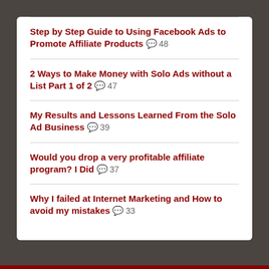Step by Step Guide to Using Facebook Ads to Promote Affiliate Products 💬 48
2 Ways to Make Money with Solo Ads without a List Part 1 of 2 💬 47
My Results and Lessons Learned From the Solo Ad Business 💬 39
Would you drop a very profitable affiliate program? I Did 💬 37
Why I failed at Internet Marketing and How to avoid my mistakes 💬 33